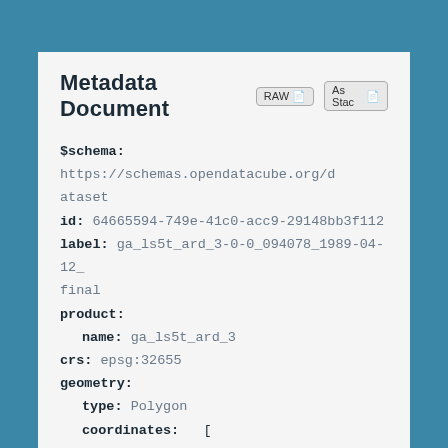Metadata Document
$schema: https://schemas.opendatacube.org/dataset
id: 64665594-749e-41c0-acc9-29148bb3f112
label: ga_ls5t_ard_3-0-0_094078_1989-04-12_final
product:
  name: ga_ls5t_ard_3
crs: epsg:32655
geometry:
  type: Polygon
  coordinates:  [
        [
          [
          309855.0
          -3771685.0